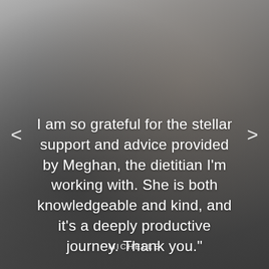[Figure (photo): Blurred background photo of a person, muted gray-brown tones, with semi-transparent dark overlay]
I am so grateful for the stellar support and advice provided by Meghan, the dietitian I'm working with. She is both knowledgeable and kind, and it's a deeply productive journey. Thank you."
MICHELLE